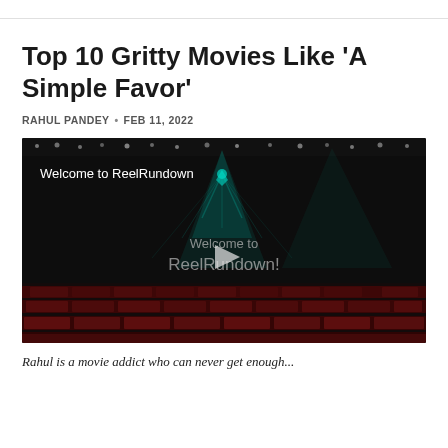Top 10 Gritty Movies Like 'A Simple Favor'
RAHUL PANDEY • FEB 11, 2022
[Figure (screenshot): Video thumbnail for 'Welcome to ReelRundown' showing a dark cinema interior with stage lights and rows of red seats. A play button is visible in the center. Text reads 'Welcome to ReelRundown' at the top left and 'Welcome to ReelRundown!' in the center.]
Rahul is a movie addict who can never get enough...